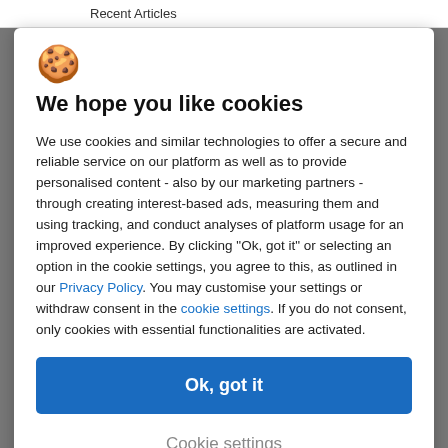Recent Articles
[Figure (illustration): Cookie emoji icon (yellow cookie with chocolate chips)]
We hope you like cookies
We use cookies and similar technologies to offer a secure and reliable service on our platform as well as to provide personalised content - also by our marketing partners - through creating interest-based ads, measuring them and using tracking, and conduct analyses of platform usage for an improved experience. By clicking "Ok, got it" or selecting an option in the cookie settings, you agree to this, as outlined in our Privacy Policy. You may customise your settings or withdraw consent in the cookie settings. If you do not consent, only cookies with essential functionalities are activated.
Ok, got it
Cookie settings